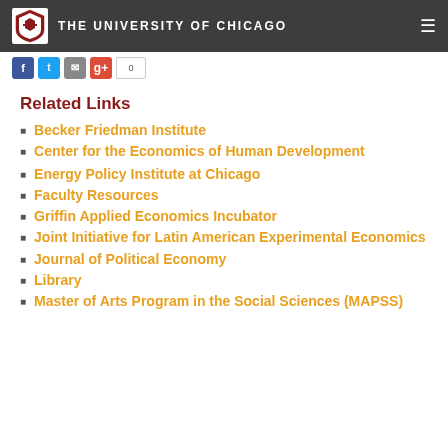THE UNIVERSITY OF CHICAGO
Related Links
Becker Friedman Institute
Center for the Economics of Human Development
Energy Policy Institute at Chicago
Faculty Resources
Griffin Applied Economics Incubator
Joint Initiative for Latin American Experimental Economics
Journal of Political Economy
Library
Master of Arts Program in the Social Sciences (MAPSS)